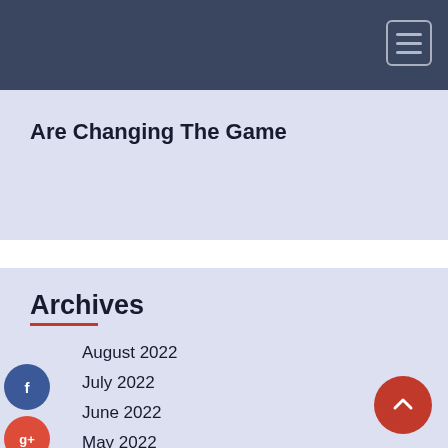Are Changing The Game
Archives
August 2022
July 2022
June 2022
May 2022
April 2022
March 2022
February 2022